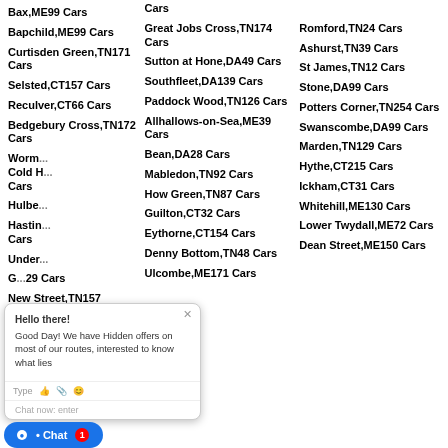Cars
Bax,ME99 Cars
Great Jobs Cross,TN174 Cars
Romford,TN24 Cars
Bapchild,ME99 Cars
Sutton at Hone,DA49 Cars
Ashurst,TN39 Cars
Curtisden Green,TN171 Cars
Southfleet,DA139 Cars
St James,TN12 Cars
Selsted,CT157 Cars
Paddock Wood,TN126 Cars
Stone,DA99 Cars
Reculver,CT66 Cars
Allhallows-on-Sea,ME39 Cars
Potters Corner,TN254 Cars
Bedgebury Cross,TN172 Cars
Bean,DA28 Cars
Swanscombe,DA99 Cars
Worm...
Mabledon,TN92 Cars
Marden,TN129 Cars
Cold H... Cars
How Green,TN87 Cars
Hythe,CT215 Cars
Hulbe...
Guilton,CT32 Cars
Ickham,CT31 Cars
Hastin... Cars
Eythorne,CT154 Cars
Whitehill,ME130 Cars
Under...
Denny Bottom,TN48 Cars
Lower Twydall,ME72 Cars
G...29 Cars
New Street,TN157
Ulcombe,ME171 Cars
Dean Street,ME150 Cars